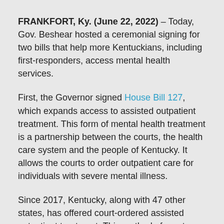FRANKFORT, Ky. (June 22, 2022) – Today, Gov. Beshear hosted a ceremonial signing for two bills that help more Kentuckians, including first-responders, access mental health services.
First, the Governor signed House Bill 127, which expands access to assisted outpatient treatment. This form of mental health treatment is a partnership between the courts, the health care system and the people of Kentucky. It allows the courts to order outpatient care for individuals with severe mental illness.
Since 2017, Kentucky, along with 47 other states, has offered court-ordered assisted outpatient treatment. This method of court-ordered mental health care ensures that individuals with severe mental illness get the treatment they need when they are not able to find it on their own. To be placed...